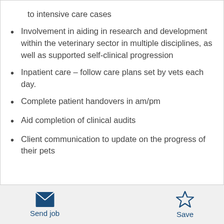to intensive care cases
Involvement in aiding in research and development within the veterinary sector in multiple disciplines, as well as supported self-clinical progression
Inpatient care – follow care plans set by vets each day.
Complete patient handovers in am/pm
Aid completion of clinical audits
Client communication to update on the progress of their pets
Send job  Save